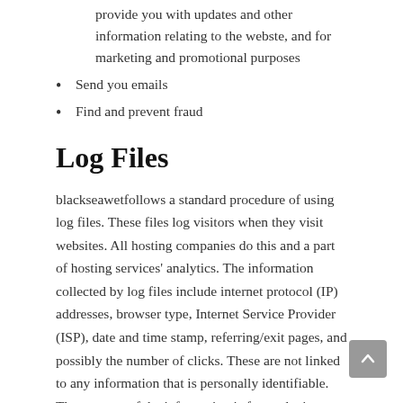provide you with updates and other information relating to the webste, and for marketing and promotional purposes
Send you emails
Find and prevent fraud
Log Files
blackseawetfollows a standard procedure of using log files. These files log visitors when they visit websites. All hosting companies do this and a part of hosting services' analytics. The information collected by log files include internet protocol (IP) addresses, browser type, Internet Service Provider (ISP), date and time stamp, referring/exit pages, and possibly the number of clicks. These are not linked to any information that is personally identifiable. The purpose of the information is for analyzing trends, administering the site, tracking users' movement on the website, and gathering demographic information.
Cookies and Web Beacons